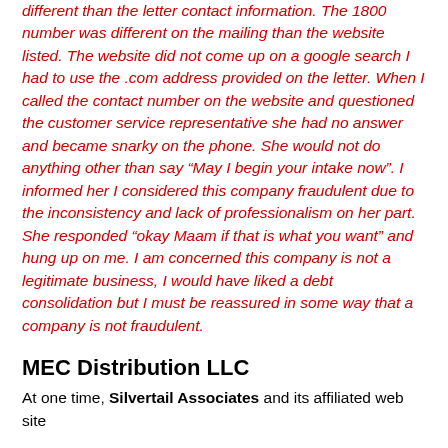different than the letter contact information. The 1800 number was different on the mailing than the website listed. The website did not come up on a google search I had to use the .com address provided on the letter. When I called the contact number on the website and questioned the customer service representative she had no answer and became snarky on the phone. She would not do anything other than say “May I begin your intake now”. I informed her I considered this company fraudulent due to the inconsistency and lack of professionalism on her part. She responded “okay Maam if that is what you want” and hung up on me. I am concerned this company is not a legitimate business, I would have liked a debt consolidation but I must be reassured in some way that a company is not fraudulent.
MEC Distribution LLC
At one time, Silvertail Associates and its affiliated web site